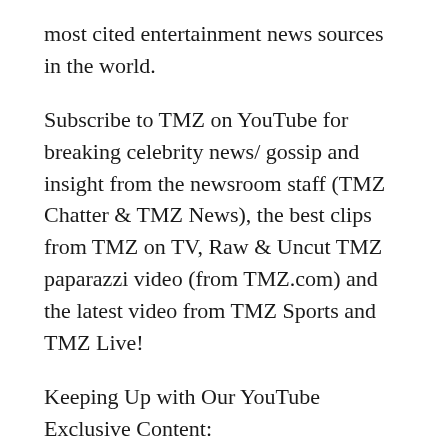most cited entertainment news sources in the world.
Subscribe to TMZ on YouTube for breaking celebrity news/ gossip and insight from the newsroom staff (TMZ Chatter & TMZ News), the best clips from TMZ on TV, Raw & Uncut TMZ paparazzi video (from TMZ.com) and the latest video from TMZ Sports and TMZ Live!
Keeping Up with Our YouTube Exclusive Content:
TMZ Chatter: TMZ newsroom staff insight and commentary from stories/ photos/ videos on TMZ.com
TMZ News: The latest news you need to know